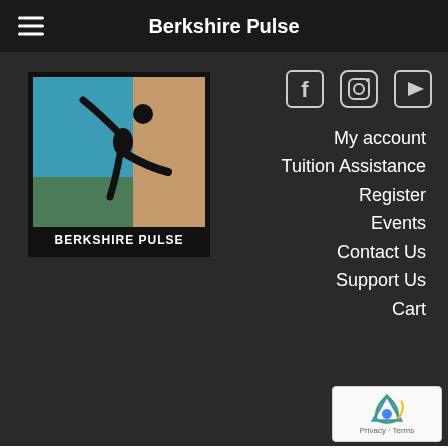Berkshire Pulse
[Figure (logo): Berkshire Pulse logo: black-bordered box with teal sky, brown figure, green ground; silhouette of person leaning/dancing. Text 'BERKSHIRE PULSE' below.]
My account
Tuition Assistance
Register
Events
Contact Us
Support Us
Cart
Team Group: Founding Faculty
Ruby Auer